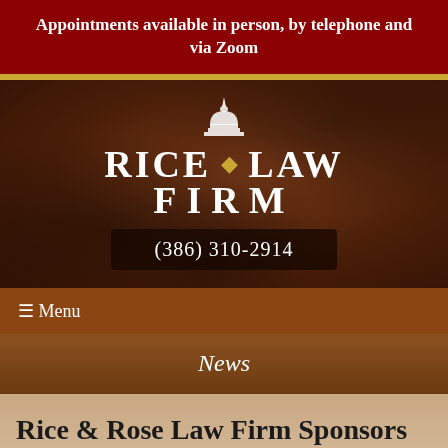Appointments available in person, by telephone and via Zoom
[Figure (logo): Rice Law Firm logo with capitol dome icon and phone number (386) 310-2914]
≡ Menu
News
Rice & Rose Law Firm Sponsors NSB CAPS Dinner